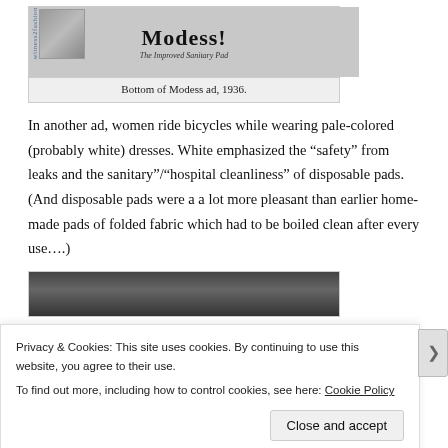[Figure (photo): Bottom portion of a Modess sanitary pad advertisement from 1936, showing a product box on the left and the Modess brand name and tagline 'The Improved Sanitary Pad' on the right.]
Bottom of Modess ad, 1936.
In another ad, women ride bicycles while wearing pale-colored (probably white) dresses. White emphasized the “safety” from leaks and the sanitary”/“hospital cleanliness” of disposable pads. (And disposable pads were a a lot more pleasant than earlier home-made pads of folded fabric which had to be boiled clean after every use….)
[Figure (photo): Black and white photograph, partially visible, appearing to show people outdoors.]
Privacy & Cookies: This site uses cookies. By continuing to use this website, you agree to their use.
To find out more, including how to control cookies, see here: Cookie Policy
Close and accept